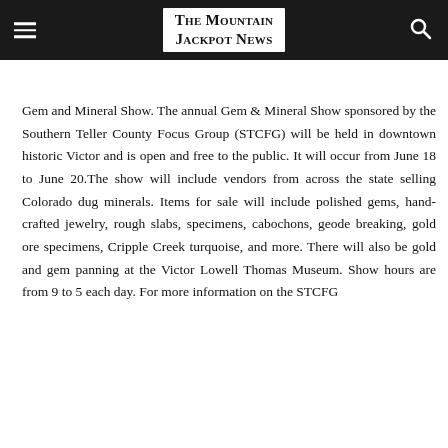The Mountain Jackpot News
Gem and Mineral Show. The annual Gem & Mineral Show sponsored by the Southern Teller County Focus Group (STCFG) will be held in downtown historic Victor and is open and free to the public. It will occur from June 18 to June 20.The show will include vendors from across the state selling Colorado dug minerals. Items for sale will include polished gems, hand-crafted jewelry, rough slabs, specimens, cabochons, geode breaking, gold ore specimens, Cripple Creek turquoise, and more. There will also be gold and gem panning at the Victor Lowell Thomas Museum. Show hours are from 9 to 5 each day. For more information on the STCFG